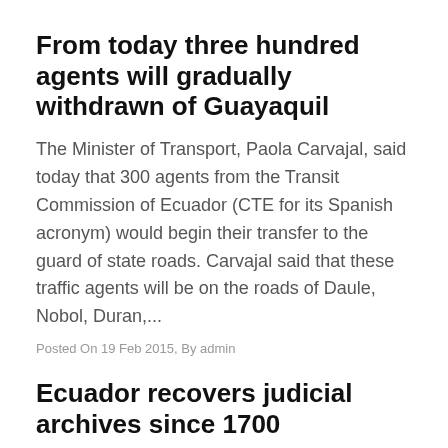From today three hundred agents will gradually withdrawn of Guayaquil
The Minister of Transport, Paola Carvajal, said today that 300 agents from the Transit Commission of Ecuador (CTE for its Spanish acronym) would begin their transfer to the guard of state roads. Carvajal said that these traffic agents will be on the roads of Daule, Nobol, Duran,...
Posted On 19 Feb 2015, By admin
Ecuador recovers judicial archives since 1700
About 100 million folios are part of the general archives of the Judiciary Function, located in the...